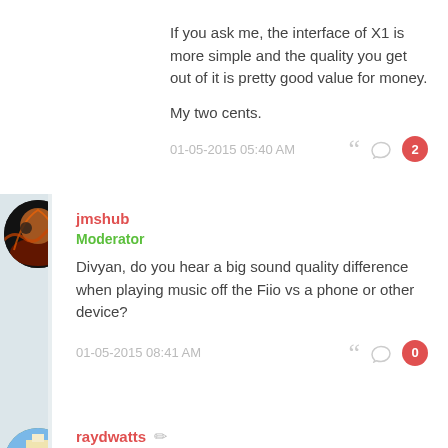If you ask me, the interface of X1 is more simple and the quality you get out of it is pretty good value for money.

My two cents.
01-05-2015 05:40 AM
jmshub
Moderator
Divyan, do you hear a big sound quality difference when playing music off the Fiio vs a phone or other device?
01-05-2015 08:41 AM
raydwatts